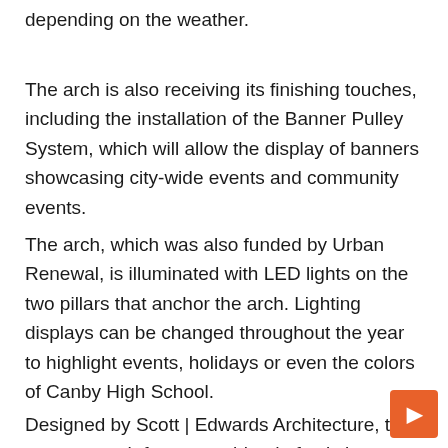depending on the weather.
The arch is also receiving its finishing touches, including the installation of the Banner Pulley System, which will allow the display of banners showcasing city-wide events and community events.
The arch, which was also funded by Urban Renewal, is illuminated with LED lights on the two pillars that anchor the arch. Lighting displays can be changed throughout the year to highlight events, holidays or even the colors of Canby High School.
Designed by Scott | Edwards Architecture, the gateway arch features a blend of existing